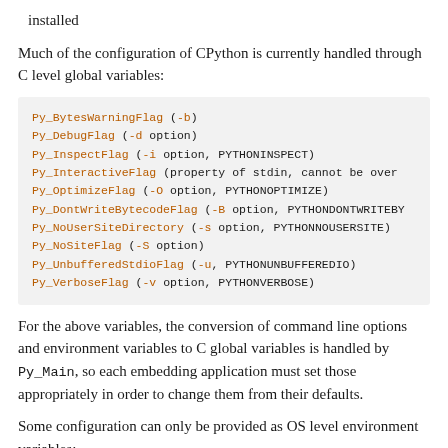installed
Much of the configuration of CPython is currently handled through C level global variables:
Py_BytesWarningFlag (-b)
Py_DebugFlag (-d option)
Py_InspectFlag (-i option, PYTHONINSPECT)
Py_InteractiveFlag (property of stdin, cannot be overr
Py_OptimizeFlag (-O option, PYTHONOPTIMIZE)
Py_DontWriteBytecodeFlag (-B option, PYTHONDONTWRITEBY
Py_NoUserSiteDirectory (-s option, PYTHONNOUSERSITE)
Py_NoSiteFlag (-S option)
Py_UnbufferedStdioFlag (-u, PYTHONUNBUFFEREDIO)
Py_VerboseFlag (-v option, PYTHONVERBOSE)
For the above variables, the conversion of command line options and environment variables to C global variables is handled by Py_Main, so each embedding application must set those appropriately in order to change them from their defaults.
Some configuration can only be provided as OS level environment variables: